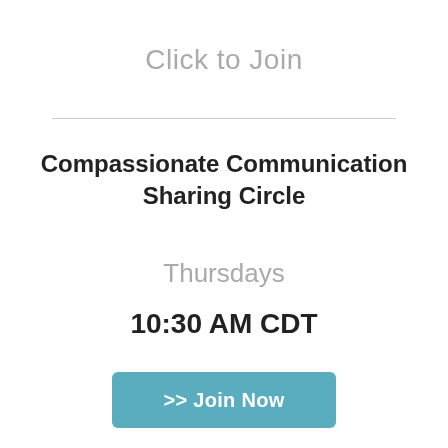Click to Join
Compassionate Communication Sharing Circle
Thursdays
10:30 AM CDT
>> Join Now